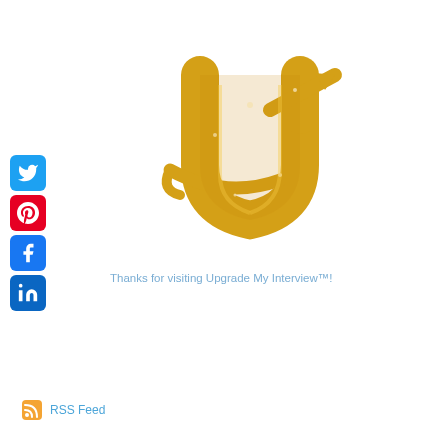[Figure (logo): Gold glitter stylized letter U with arrow and swoosh — Upgrade My Interview logo]
[Figure (infographic): Social media share buttons: Twitter (blue bird), Pinterest (red P), Facebook (blue f), LinkedIn (blue in)]
Thanks for visiting Upgrade My Interview™!
[Figure (logo): RSS Feed icon (orange square with wifi-style signal) and RSS Feed text link]